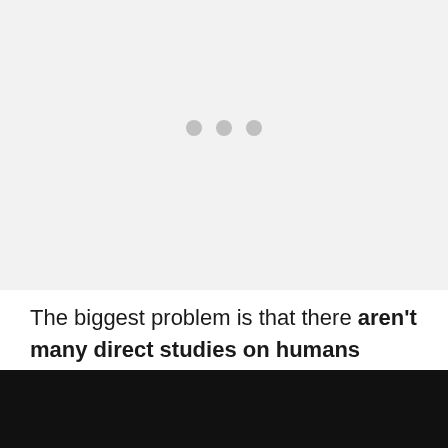[Figure (other): Light gray placeholder image area with three gray dots centered, indicating a loading or placeholder image region]
The biggest problem is that there aren't many direct studies on humans using microcurrent devices, so there isn't much data to back up the claims, nor (more importantly, to me at least) to give us a better idea of how they actually work.